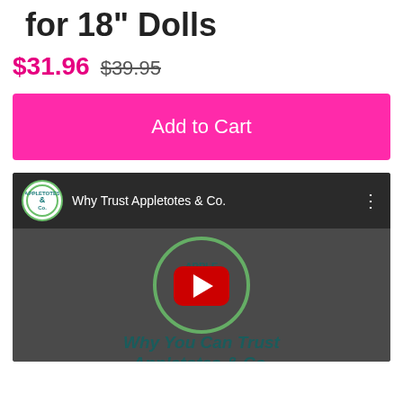for 18" Dolls
$31.96  $39.95
Add to Cart
[Figure (screenshot): YouTube video thumbnail for 'Why Trust Appletotes & Co.' with Appletotes & Co. channel logo, YouTube play button, and text 'Why You Can Trust Appletotes & Co.']